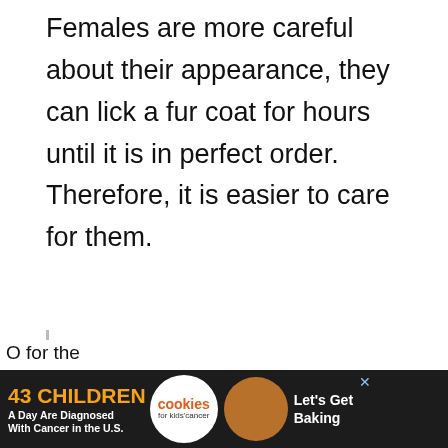Females are more careful about their appearance, they can lick a fur coat for hours until it is in perfect order. Therefore, it is easier to care for them.
Important. Each cat has individual character traits. You can only find out what kind of disposition a kitten has by observing.
[Figure (screenshot): Advertisement banner: '43 CHILDREN A Day Are Diagnosed With Cancer in the U.S.' with cookies for kids cancer logo and 'Let's Get Baking' text]